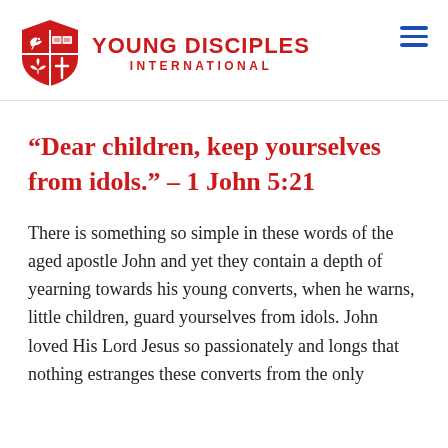YOUNG DISCIPLES INTERNATIONAL
“Dear children, keep yourselves from idols.” – 1 John 5:21
There is something so simple in these words of the aged apostle John and yet they contain a depth of yearning towards his young converts, when he warns, little children, guard yourselves from idols. John loved His Lord Jesus so passionately and longs that nothing estranges these converts from the only